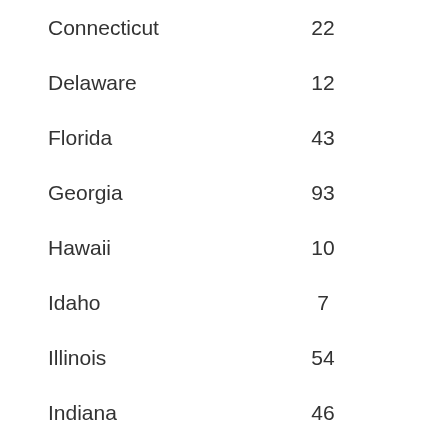| Connecticut | 22 | 1.31 |
| Delaware | 12 | 3.23 |
| Florida | 43 | 0.58 |
| Georgia | 93 | 2.47 |
| Hawaii | 10 | 1.71 |
| Idaho | 7 | 1.18 |
| Illinois | 54 | 0.89 |
| Indiana | 46 | 1.54 |
| Iowa | 11 | 0.75 |